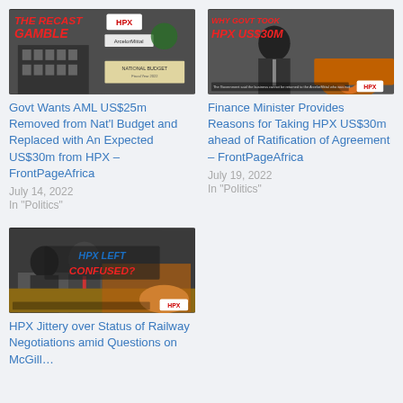[Figure (photo): News article thumbnail image with text overlay 'THE RECAST GAMBLE' and HPX logo, showing building and national budget document]
Govt Wants AML US$25m Removed from Nat'l Budget and Replaced with An Expected US$30m from HPX – FrontPageAfrica
July 14, 2022
In "Politics"
[Figure (photo): News article thumbnail image with text overlay 'WHY GOVT TOOK HPX US$30M' showing a man in suit]
Finance Minister Provides Reasons for Taking HPX US$30m ahead of Ratification of Agreement – FrontPageAfrica
July 19, 2022
In "Politics"
[Figure (photo): News article thumbnail image with text overlay 'HPX LEFT CONFUSED?' showing two men at a table]
HPX Jittery over Status of Railway Negotiations amid Questions on McGill...